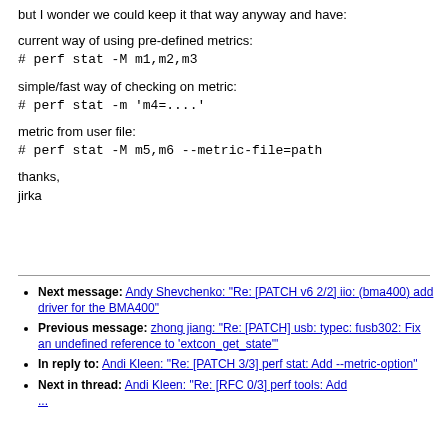but I wonder we could keep it that way anyway and have:
current way of using pre-defined metrics:
# perf stat -M m1,m2,m3
simple/fast way of checking on metric:
# perf stat -m 'm4=....'
metric from user file:
# perf stat -M m5,m6 --metric-file=path
thanks,
jirka
Next message: Andy Shevchenko: "Re: [PATCH v6 2/2] iio: (bma400) add driver for the BMA400"
Previous message: zhong jiang: "Re: [PATCH] usb: typec: fusb302: Fix an undefined reference to 'extcon_get_state'"
In reply to: Andi Kleen: "Re: [PATCH 3/3] perf stat: Add --metric-option"
Next in thread: Andi Kleen: "Re: [RFC 0/3] perf tools: Add ..."